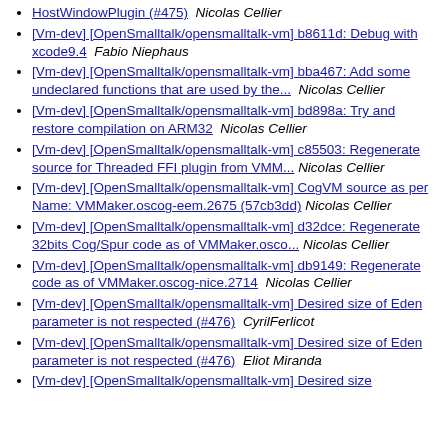HostWindowPlugin (#475)  Nicolas Cellier
[Vm-dev] [OpenSmalltalk/opensmalltalk-vm] b8611d: Debug with xcode9.4  Fabio Niephaus
[Vm-dev] [OpenSmalltalk/opensmalltalk-vm] bba467: Add some undeclared functions that are used by the...  Nicolas Cellier
[Vm-dev] [OpenSmalltalk/opensmalltalk-vm] bd898a: Try and restore compilation on ARM32  Nicolas Cellier
[Vm-dev] [OpenSmalltalk/opensmalltalk-vm] c85503: Regenerate source for Threaded FFI plugin from VMM...  Nicolas Cellier
[Vm-dev] [OpenSmalltalk/opensmalltalk-vm] CogVM source as per Name: VMMaker.oscog-eem.2675 (57cb3dd)  Nicolas Cellier
[Vm-dev] [OpenSmalltalk/opensmalltalk-vm] d32dce: Regenerate 32bits Cog/Spur code as of VMMaker.osco...  Nicolas Cellier
[Vm-dev] [OpenSmalltalk/opensmalltalk-vm] db9149: Regenerate code as of VMMaker.oscog-nice.2714  Nicolas Cellier
[Vm-dev] [OpenSmalltalk/opensmalltalk-vm] Desired size of Eden parameter is not respected (#476)  CyrilFerlicot
[Vm-dev] [OpenSmalltalk/opensmalltalk-vm] Desired size of Eden parameter is not respected (#476)  Eliot Miranda
[Vm-dev] [OpenSmalltalk/opensmalltalk-vm] Desired size